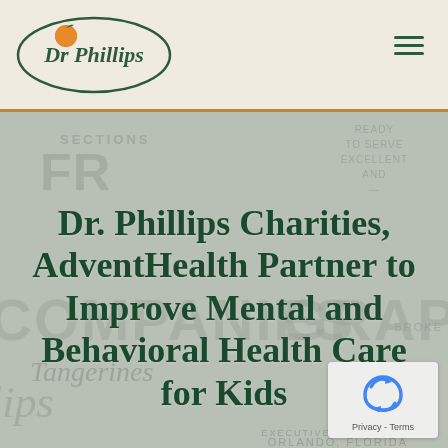Dr Phillips logo and navigation header
[Figure (logo): Dr. Phillips brand logo: oval green border with orange fruit illustration and cursive 'Dr Phillips' text]
Dr. Phillips Charities, AdventHealth Partner to Improve Mental and Behavioral Health Care for Kids
[Figure (other): reCAPTCHA badge with recycle-arrow icon and Privacy - Terms text]